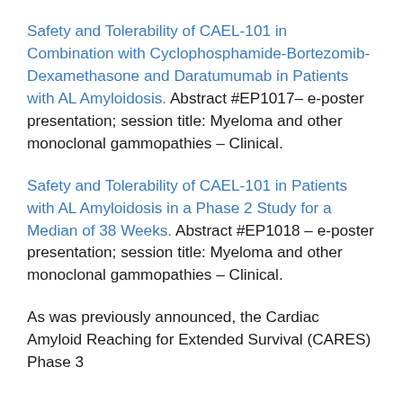Safety and Tolerability of CAEL-101 in Combination with Cyclophosphamide-Bortezomib-Dexamethasone and Daratumumab in Patients with AL Amyloidosis. Abstract #EP1017–e-poster presentation; session title: Myeloma and other monoclonal gammopathies – Clinical.
Safety and Tolerability of CAEL-101 in Patients with AL Amyloidosis in a Phase 2 Study for a Median of 38 Weeks. Abstract #EP1018 – e-poster presentation; session title: Myeloma and other monoclonal gammopathies – Clinical.
As was previously announced, the Cardiac Amyloid Reaching for Extended Survival (CARES) Phase 3